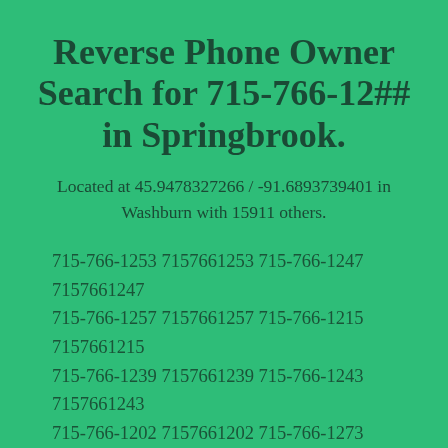Reverse Phone Owner Search for 715-766-12## in Springbrook.
Located at 45.9478327266 / -91.6893739401 in Washburn with 15911 others.
715-766-1253 7157661253 715-766-1247 7157661247 715-766-1257 7157661257 715-766-1215 7157661215 715-766-1239 7157661239 715-766-1243 7157661243 715-766-1202 7157661202 715-766-1273 7157661273 715-766-1268 7157661268 715-766-1263 7157661263 715-766-1287 7157661287 715-766-1217 7157661217 715-766-1258 7157661258 715-766-1208 7157661208 715-766-1262 7157661262 715-766-1222 7157661222 715-766-1204 7157661204 715-766-1265 7157661265 715-766-1213 7157661213 715-766-1211 7157661211 715-766-1272 7157661272 715-766-1244 7157661244 715-766-1214 7157661214 715-766-1282 7157661282